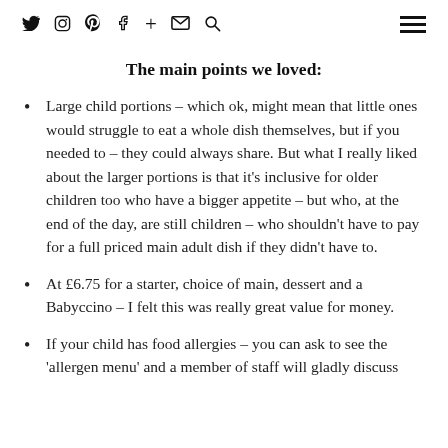Social icons: Twitter, Instagram, Pinterest, Facebook, Plus, Email, Search | Hamburger menu
The main points we loved:
Large child portions – which ok, might mean that little ones would struggle to eat a whole dish themselves, but if you needed to – they could always share. But what I really liked about the larger portions is that it's inclusive for older children too who have a bigger appetite – but who, at the end of the day, are still children – who shouldn't have to pay for a full priced main adult dish if they didn't have to.
At £6.75 for a starter, choice of main, dessert and a Babyccino – I felt this was really great value for money.
If your child has food allergies – you can ask to see the 'allergen menu' and a member of staff will gladly discuss